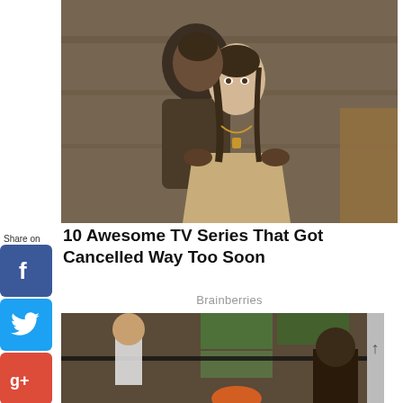[Figure (photo): A man standing behind a young woman in historical/period costume, hands on her shoulders, in a dimly lit stone setting. TV series still image.]
10 Awesome TV Series That Got Cancelled Way Too Soon
Brainberries
[Figure (photo): A partial/cropped still image from a TV series, showing figures in what appears to be a period drama setting.]